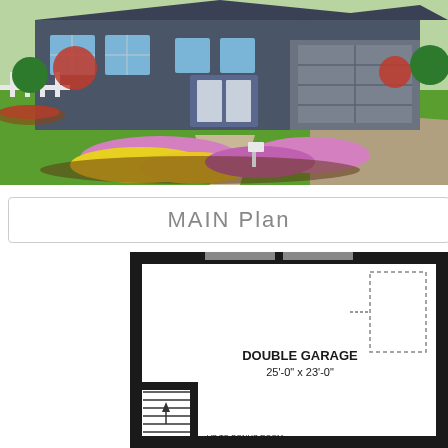[Figure (photo): Exterior rendering of a single-storey house with dark grey siding, white trim, attached garage on the right, lush green lawn, colorful flower beds featuring yellow and pink flowers in the foreground, a mailbox at the end of the front path, white fence on the left side, and gravel driveway on the right.]
MAIN Plan
[Figure (engineering-diagram): Floor plan drawing of the main level showing a Double Garage space (25'-0" x 23'-0") with stairs leading up to a bonus room. The garage is shown with thick black walls, a garage door opening at the top, a dotted rectangle in the upper right indicating a structural element, and stairs with an arrow marked 'UP TO BONUS ROOM' in the lower center.]